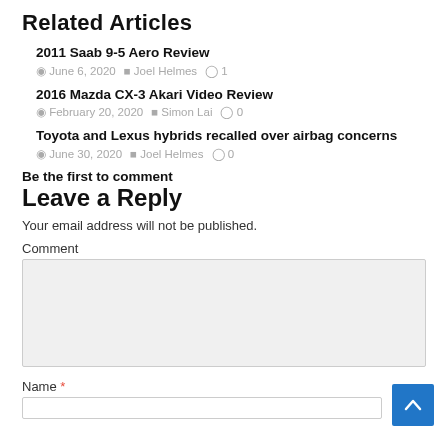Related Articles
2011 Saab 9-5 Aero Review
June 6, 2020  Joel Helmes  1
2016 Mazda CX-3 Akari Video Review
February 20, 2020  Simon Lai  0
Toyota and Lexus hybrids recalled over airbag concerns
June 30, 2020  Joel Helmes  0
Be the first to comment
Leave a Reply
Your email address will not be published.
Comment
Name *